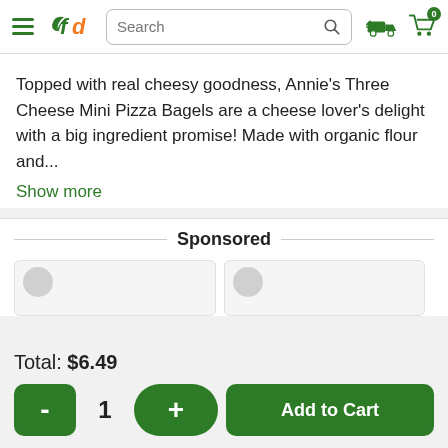fd Search [search icon] [truck icon] [cart icon 0]
Topped with real cheesy goodness, Annie's Three Cheese Mini Pizza Bagels are a cheese lover's delight with a big ingredient promise! Made with organic flour and...
Show more
Sponsored
Total: $6.49
- 1 + Add to Cart